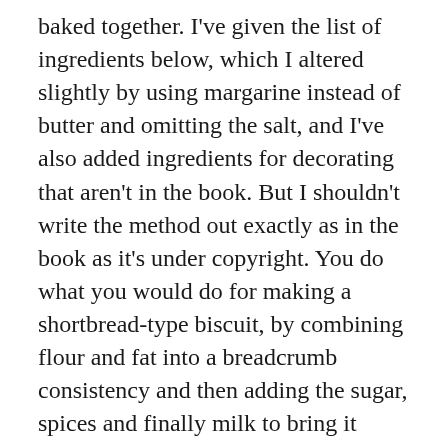baked together. I've given the list of ingredients below, which I altered slightly by using margarine instead of butter and omitting the salt, and I've also added ingredients for decorating that aren't in the book. But I shouldn't write the method out exactly as in the book as it's under copyright. You do what you would do for making a shortbread-type biscuit, by combining flour and fat into a breadcrumb consistency and then adding the sugar, spices and finally milk to bring it together into a firm dough that can be rolled out and cut into shapes. The finished biscuit texture is quite soft and short rather than crunchy like some gingerbread, but I think this is a nice texture for little (and big) mouths.